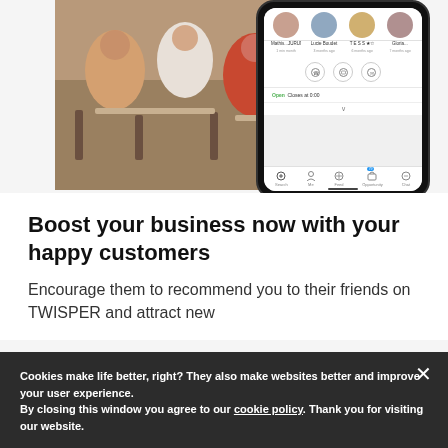[Figure (photo): Photo of people sitting at a restaurant/café with wicker chairs, overlaid with a smartphone mockup showing a social app (TWISPER) with user profiles, action icons, and navigation bar.]
Boost your business now with your happy customers
Encourage them to recommend you to their friends on TWISPER and attract new
Cookies make life better, right? They also make websites better and improve your user experience.
By closing this window you agree to our cookie policy. Thank you for visiting our website.